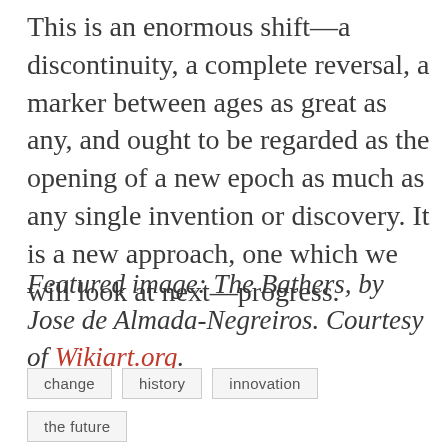This is an enormous shift—a discontinuity, a complete reversal, a marker between ages as great as any, and ought to be regarded as the opening of a new epoch as much as any single invention or discovery. It is a new approach, one which we will look at next—progress.
Featured image: The Bathers, by Jose de Almada-Negreiros. Courtesy of Wikiart.org.
change
history
innovation
the future